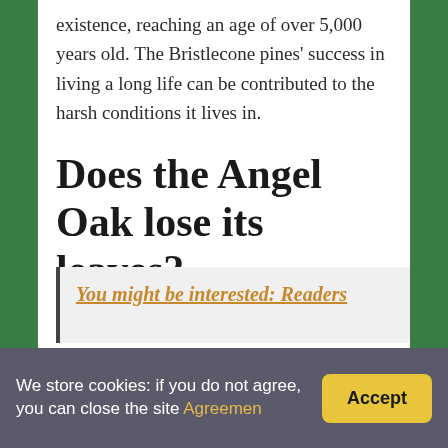existence, reaching an age of over 5,000 years old. The Bristlecone pines' success in living a long life can be contributed to the harsh conditions it lives in.
Does the Angel Oak lose its leaves?
The Angel Oak, as are all live oak trees, is designed to survive the salty and humid coastline of the South. Then each spring, the oak trees in the area drop their leaves and briefly remain leafless before sprouting new waxy green tips.
You might be interested: Readers
We store cookies: if you do not agree, you can close the site Agreemen